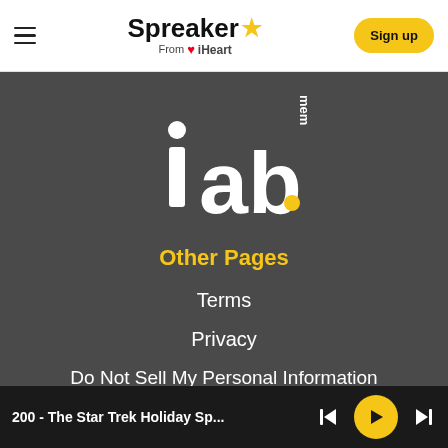[Figure (logo): Spreaker from iHeart logo with hamburger menu and Sign up button in white navigation bar]
[Figure (logo): IAB member logo in white on dark gray background, with 'mem' text visible vertically]
Other Pages
Terms
Privacy
Do Not Sell My Personal Information
200 - The Star Trek Holiday Sp...